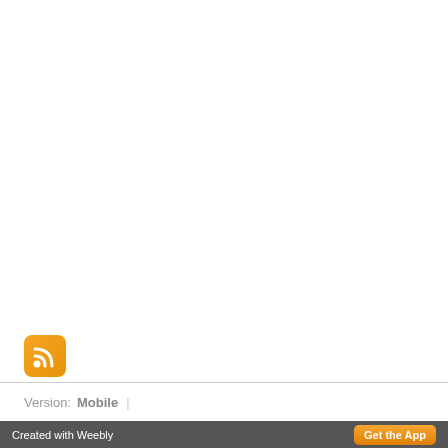[Figure (logo): RSS feed icon — orange rounded square with white RSS signal arcs]
Version:  Mobile  |
Created with Weebly  Get the App